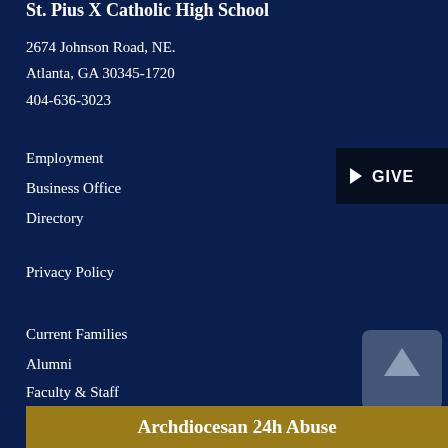St. Pius X Catholic High School
2674 Johnson Road, NE.
Atlanta, GA 30345-1720
404-636-3023
Employment
Business Office
Directory
Privacy Policy
Current Families
Alumni
Faculty & Staff
Marketplace
[Figure (other): GIVE button with right-pointing arrow chevron on dark navy background]
[Figure (other): Back to top button with upward arrow and BACK TO TOP label]
Archdiocesan 24h Abuse